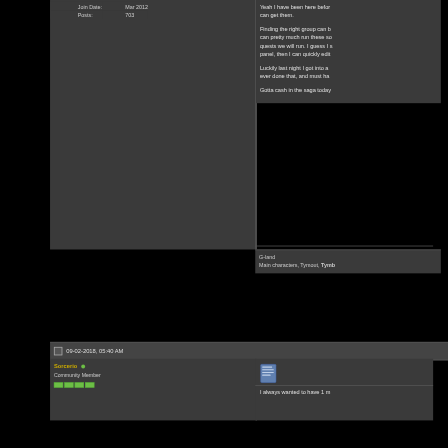Join Date: Mar 2012
Posts: 703
Yeah I have been here before, can get them.
Finding the right group can b... can pretty much run these so... quests we will run. I guess I s... panel, then I can quickly edit...
Luckily last night I got into a ... ever done that, and must ha...
Gotta cash in the saga today...
G-land
Main characters, Tymout, Tymb...
09-02-2018, 05:40 AM
Sorcerio
Community Member
I always wanted to have 1 m...